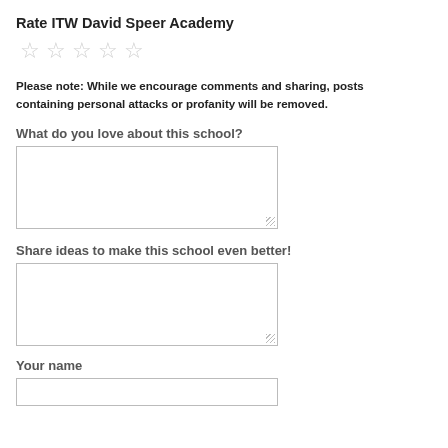Rate ITW David Speer Academy
[Figure (other): Five empty star rating icons in light gray]
Please note: While we encourage comments and sharing, posts containing personal attacks or profanity will be removed.
What do you love about this school?
[Figure (other): Empty text area input box for comments about what you love about this school]
Share ideas to make this school even better!
[Figure (other): Empty text area input box for sharing improvement ideas]
Your name
[Figure (other): Empty text input box for name]